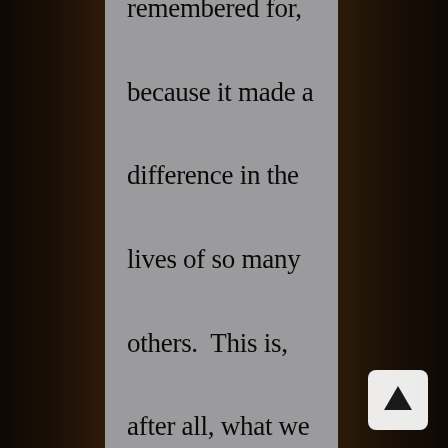remembered for, because it made a difference in the lives of so many others.  This is, after all, what we are created for: to leave a positive influence on the world around us, that makes others